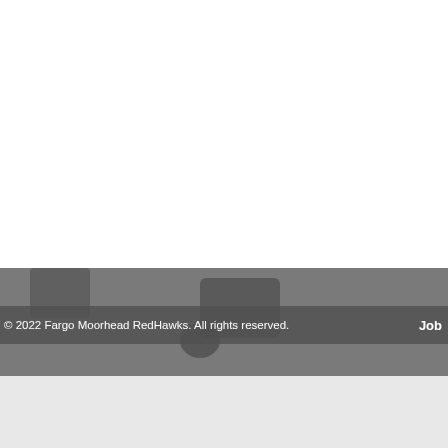[Figure (photo): Photo of baseball/sports related scene, partially visible, dark toned, showing equipment and surfaces. Top portion is white (cropped/blank). Bottom portion shows light gray background.]
© 2022 Fargo Moorhead RedHawks. All rights reserved.    Job